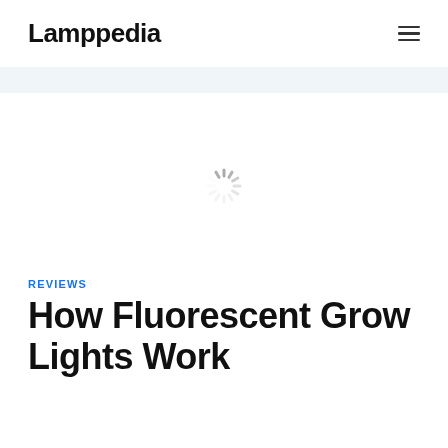Lamppedia
[Figure (other): Loading spinner icon (circular dashes indicating content is loading)]
REVIEWS
How Fluorescent Grow Lights Work